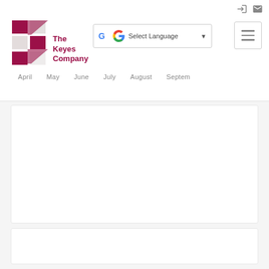[Figure (logo): The Keyes Company logo with red K geometric mark and company name in dark red]
[Figure (screenshot): Google Translate widget with 'Select Language' text and dropdown arrow]
[Figure (screenshot): Hamburger menu button with three horizontal lines]
April  May  June  July  August  September
[Figure (screenshot): White card content area (mostly blank/loading)]
[Figure (screenshot): White card content area (mostly blank/loading)]